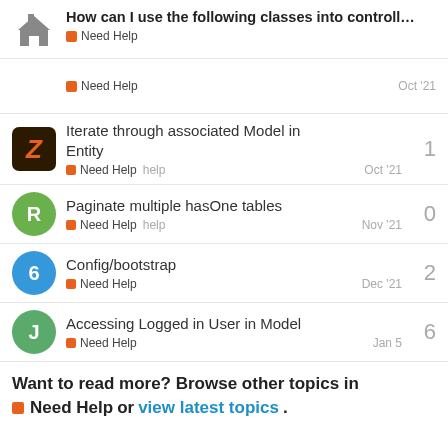How can I use the following classes into controll... — Need Help
Need Help — Oct '21
Iterate through associated Model in Entity — Need Help help — Oct '21 — 1 reply
Paginate multiple hasOne tables — Need Help help — Nov '21 — 0 replies
Config/bootstrap — Need Help — Dec '21 — 2 replies
Accessing Logged in User in Model — Need Help — Jan 5 — 6 replies
Want to read more? Browse other topics in Need Help or view latest topics.